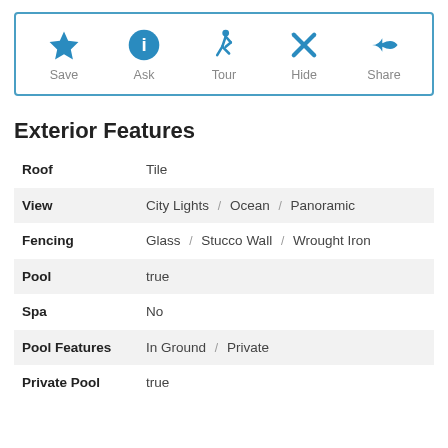[Figure (screenshot): Action toolbar with Save, Ask, Tour, Hide, Share buttons with blue icons]
Exterior Features
| Feature | Value |
| --- | --- |
| Roof | Tile |
| View | City Lights / Ocean / Panoramic |
| Fencing | Glass / Stucco Wall / Wrought Iron |
| Pool | true |
| Spa | No |
| Pool Features | In Ground / Private |
| Private Pool | true |